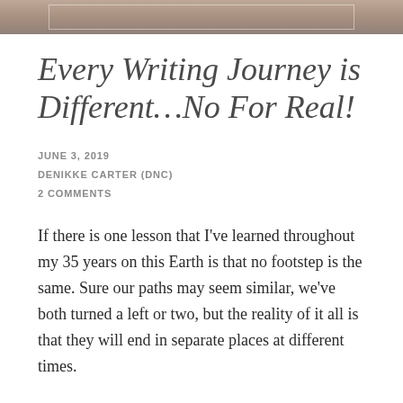[Figure (photo): Top strip of a photo showing a muted brown/grey background, partial view of a framed image or surface, blog header image cropped at top of page]
Every Writing Journey is Different…No For Real!
JUNE 3, 2019
DENIKKE CARTER (DNC)
2 COMMENTS
If there is one lesson that I've learned throughout my 35 years on this Earth is that no footstep is the same. Sure our paths may seem similar, we've both turned a left or two, but the reality of it all is that they will end in separate places at different times.
When I first started writing, it was for relief. With all